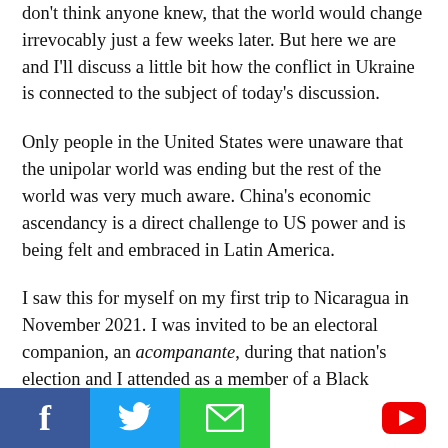don't think anyone knew, that the world would change irrevocably just a few weeks later. But here we are and I'll discuss a little bit how the conflict in Ukraine is connected to the subject of today's discussion.
Only people in the United States were unaware that the unipolar world was ending but the rest of the world was very much aware. China's economic ascendancy is a direct challenge to US power and is being felt and embraced in Latin America.
I saw this for myself on my first trip to Nicaragua in November 2021. I was invited to be an electoral companion, an acompanante, during that nation's election and I attended as a member of a Black Alliance for Peace delegation.
[Figure (infographic): Social media share buttons: Facebook (blue), Twitter (blue), Email (green), YouTube (red/white)]